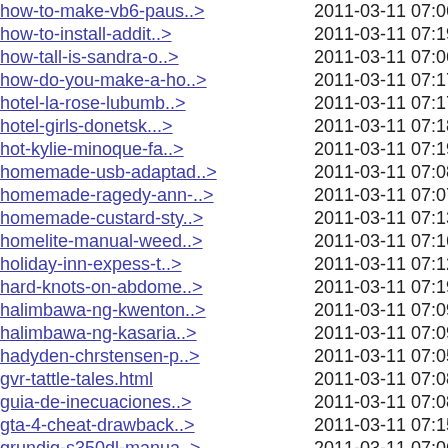how-to-make-vb6-paus..>  2011-03-11 07:06 47K
how-to-install-addit..>  2011-03-11 07:19 48K
how-tall-is-sandra-o..>  2011-03-11 07:06 46K
how-do-you-make-a-ho..>  2011-03-11 07:17 47K
hotel-la-rose-lubumb..>  2011-03-11 07:17 46K
hotel-girls-donetsk...>  2011-03-11 07:18 46K
hot-kylie-minoque-fa..>  2011-03-11 07:19 46K
homemade-usb-adaptad..>  2011-03-11 07:08 47K
homemade-ragedy-ann-..>  2011-03-11 07:07 46K
homemade-custard-sty..>  2011-03-11 07:13 46K
homelite-manual-weed..>  2011-03-11 07:16 46K
holiday-inn-expess-t..>  2011-03-11 07:12 46K
hard-knots-on-abdome..>  2011-03-11 07:19 47K
halimbawa-ng-kwenton..>  2011-03-11 07:09 46K
halimbawa-ng-kasaria..>  2011-03-11 07:09 46K
hadyden-chrstensen-p..>  2011-03-11 07:05 46K
gvr-tattle-tales.html  2011-03-11 07:08 46K
guia-de-inecuaciones..>  2011-03-11 07:08 49K
gta-4-cheat-drawback..>  2011-03-11 07:15 48K
grundig-s350dl-manua..>  2011-03-11 07:06 46K